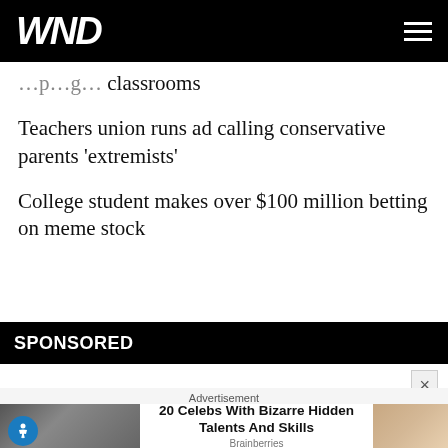WND
classrooms
Teachers union runs ad calling conservative parents 'extremists'
College student makes over $100 million betting on meme stock
SPONSORED
Advertisement
20 Celebs With Bizarre Hidden Talents And Skills
Brainberries